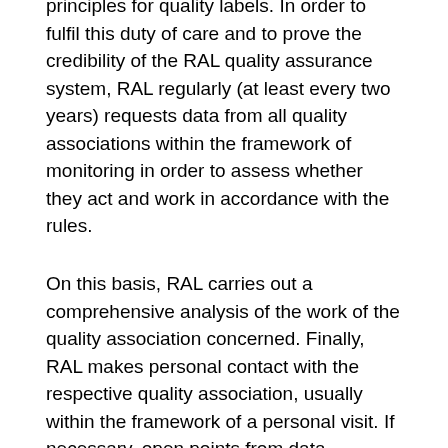principles for quality labels. In order to fulfil this duty of care and to prove the credibility of the RAL quality assurance system, RAL regularly (at least every two years) requests data from all quality associations within the framework of monitoring in order to assess whether they act and work in accordance with the rules.
On this basis, RAL carries out a comprehensive analysis of the work of the quality association concerned. Finally, RAL makes personal contact with the respective quality association, usually within the framework of a personal visit. If necessary, open points from data collection and data analysis will be clarified and either conditions imposed or